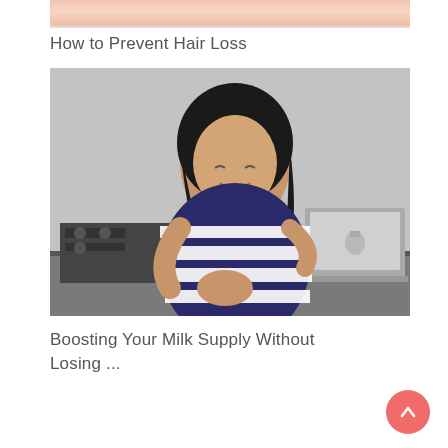[Figure (photo): Top portion of a person's head/hair, cropped, with pinkish/skin-tone background]
How to Prevent Hair Loss
[Figure (photo): Pregnant woman in black and white striped dress standing in a kitchen, smiling, with a laptop open on the counter in front of her]
Boosting Your Milk Supply Without Losing ...